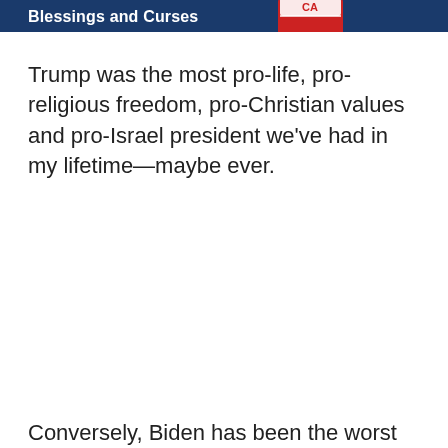Blessings and Curses
Trump was the most pro-life, pro-religious freedom, pro-Christian values and pro-Israel president we've had in my lifetime—maybe ever.
Conversely, Biden has been the worst